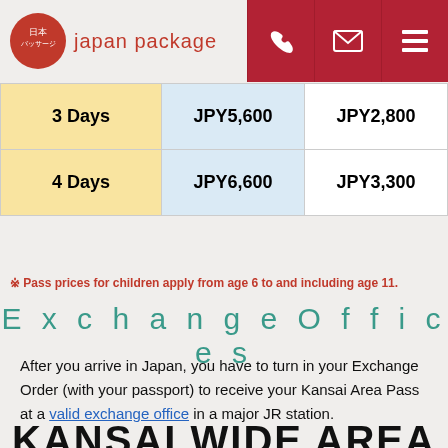japan package
|  | Adult | Child |
| --- | --- | --- |
| 3 Days | JPY5,600 | JPY2,800 |
| 4 Days | JPY6,600 | JPY3,300 |
※ Pass prices for children apply from age 6 to and including age 11.
Exchange Offices
After you arrive in Japan, you have to turn in your Exchange Order (with your passport) to receive your Kansai Area Pass at a valid exchange office in a major JR station.
KANSAI WIDE AREA